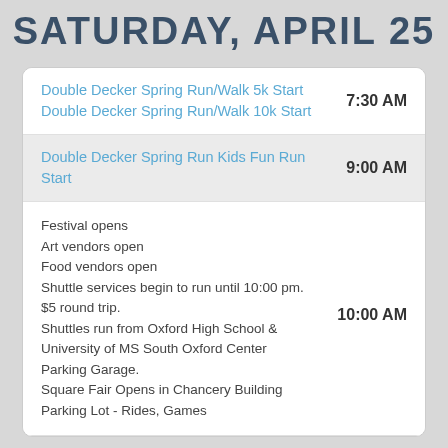SATURDAY, APRIL 25
| Event | Time |
| --- | --- |
| Double Decker Spring Run/Walk 5k Start
Double Decker Spring Run/Walk 10k Start | 7:30 AM |
| Double Decker Spring Run Kids Fun Run Start | 9:00 AM |
| Festival opens
Art vendors open
Food vendors open
Shuttle services begin to run until 10:00 pm. $5 round trip.
Shuttles run from Oxford High School & University of MS South Oxford Center Parking Garage.
Square Fair Opens in Chancery Building Parking Lot - Rides, Games | 10:00 AM |